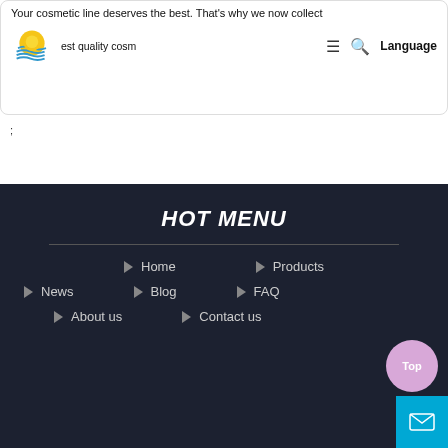Your cosmetic line deserves the best. That's why we now collect est quality cosm | Language
;
HOT MENU
Home
Products
News
Blog
FAQ
About us
Contact us